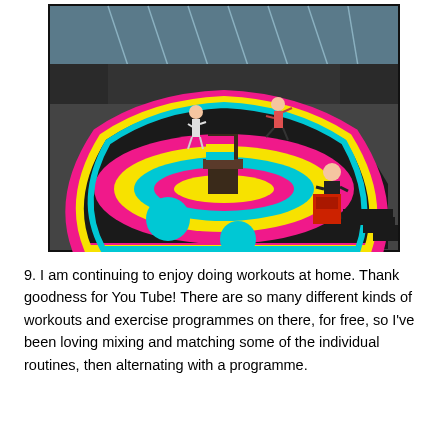[Figure (photo): Indoor trampoline park with colorful pink, yellow, and blue trampolines. Three people visible — two children jumping and one adult sitting. The facility has dark walls and a glass ceiling.]
9. I am continuing to enjoy doing workouts at home. Thank goodness for You Tube! There are so many different kinds of workouts and exercise programmes on there, for free, so I've been loving mixing and matching some of the individual routines, then alternating with a programme.